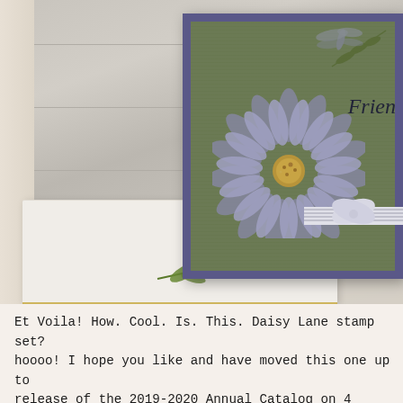[Figure (photo): A handmade greeting card featuring a large purple/lavender daisy flower on a green and purple card base, with a striped ribbon bow, placed against a gray wood-plank background. A white envelope with a green fern leaf stamp is in front. Partially visible text 'Frien' on the card.]
Et Voila! How. Cool. Is. This. Daisy Lane stamp set? hoooo! I hope you like and have moved this one up to release of the 2019-2020 Annual Catalog on 4 June!